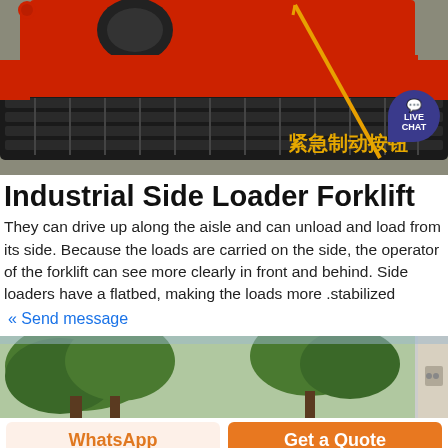[Figure (photo): Top-down photo of a red industrial tracked vehicle/forklift showing rubber tracks, with an orange arrow pointing to a component labeled in Chinese as emergency brake button (紧急制动按钮). A live chat badge is in the upper right.]
Industrial Side Loader Forklift
They can drive up along the aisle and can unload and load from its side. Because the loads are carried on the side, the operator of the forklift can see more clearly in front and behind. Side loaders have a flatbed, making the loads more .stabilized
« Send message
[Figure (photo): Outdoor photo showing green trees and a building/wall in the background, partial view.]
WhatsApp
Get a Quote